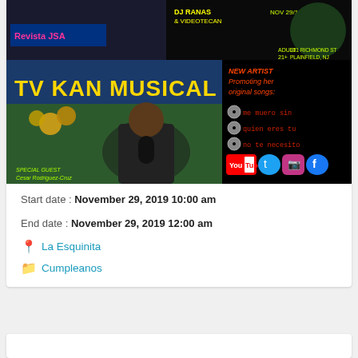[Figure (photo): Event flyer for TV Kan Musical showing performers including Cesar Rodriguez-Cruz as special guest, promoting a new artist's original songs: me muero sin, quien eres tu, no te necesito. Event at 301 Richmond St, Plainfield NJ, Nov 29, 10pm. Social media icons for YouTube, Twitter, Instagram, Facebook shown.]
Start date : November 29, 2019 10:00 am
End date : November 29, 2019 12:00 am
La Esquinita
Cumpleanos